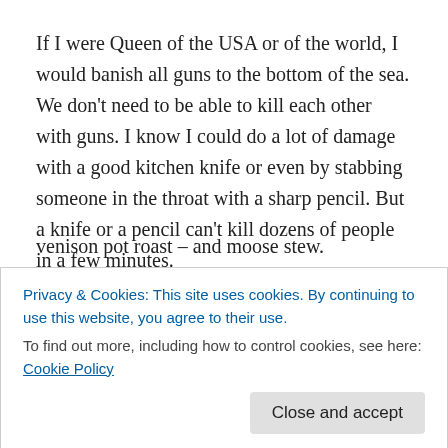If I were Queen of the USA or of the world, I would banish all guns to the bottom of the sea. We don't need to be able to kill each other with guns. I know I could do a lot of damage with a good kitchen knife or even by stabbing someone in the throat with a sharp pencil. But a knife or a pencil can't kill dozens of people in a few minutes.
Ideally, I would ban all guns for civilians. But I come from a family of hunters and – it may be sentimentality – but I'd let them keep hunting birds and animals, small and large. The highlight of my father's life was his annual hunting trip
venison pot roast – and moose stew.
Privacy & Cookies: This site uses cookies. By continuing to use this website, you agree to their use.
To find out more, including how to control cookies, see here: Cookie Policy